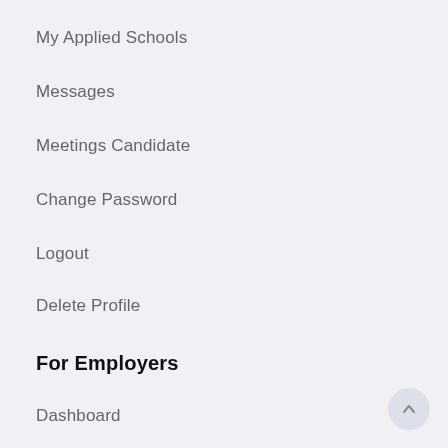My Applied Schools
Messages
Meetings Candidate
Change Password
Logout
Delete Profile
For Employers
Dashboard
Profile
Submit a School
My Schools
Applicants Schools